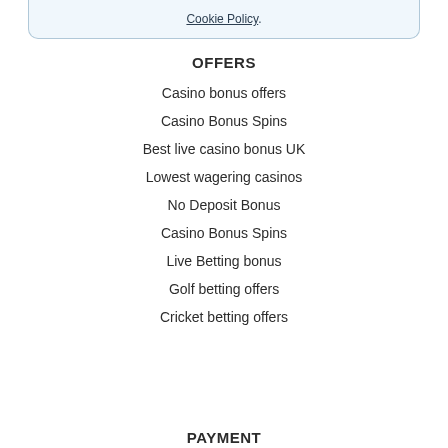Cookie Policy.
OFFERS
Casino bonus offers
Casino Bonus Spins
Best live casino bonus UK
Lowest wagering casinos
No Deposit Bonus
Casino Bonus Spins
Live Betting bonus
Golf betting offers
Cricket betting offers
PAYMENT